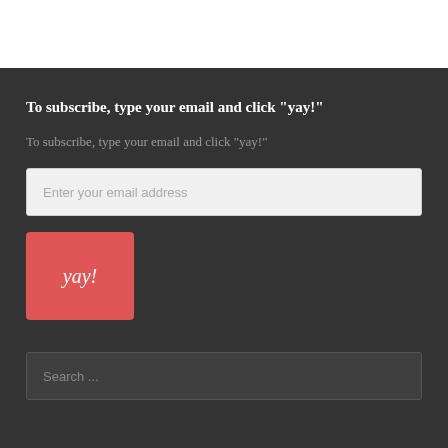To subscribe, type your email and click "yay!"
To subscribe, type your email and click "yay!"
[Figure (screenshot): Email address input field with placeholder text 'Enter your email address']
[Figure (screenshot): Red button with italic white text 'yay!']
[Figure (screenshot): Search input field with placeholder text 'Search ...']